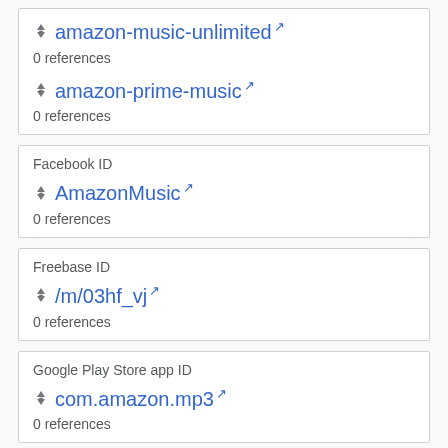amazon-music-unlimited
0 references
amazon-prime-music
0 references
Facebook ID
AmazonMusic
0 references
Freebase ID
/m/03hf_vj
0 references
Google Play Store app ID
com.amazon.mp3
0 references